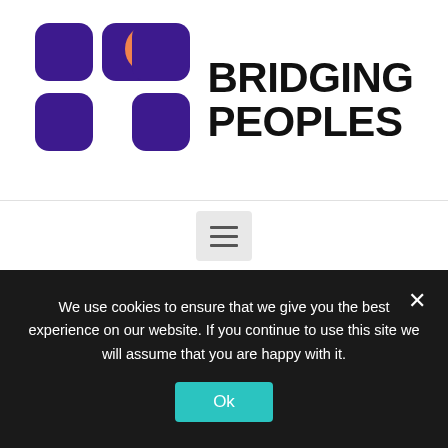[Figure (logo): Bridging Peoples logo with colorful rounded square shapes (purple and orange) and bold text 'BRIDGING PEOPLES']
[Figure (other): Hamburger menu button with three horizontal lines on a light grey background]
Recognise charity-based versus justice-based approaches in your sector, and develop strategies to working in
We use cookies to ensure that we give you the best experience on our website. If you continue to use this site we will assume that you are happy with it.